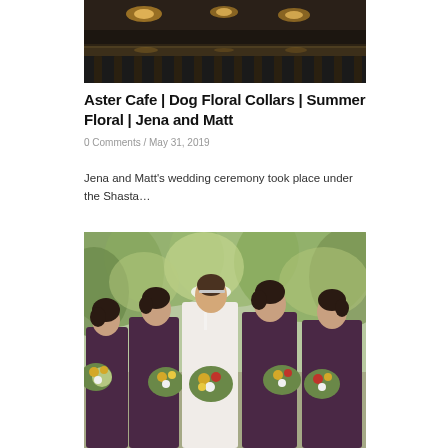[Figure (photo): Dark interior photo showing a bar or restaurant with overhead lights and rows of seating]
Aster Cafe | Dog Floral Collars | Summer Floral | Jena and Matt
0 Comments / May 31, 2019
Jena and Matt's wedding ceremony took place under the Shasta…
[Figure (photo): Outdoor wedding party photo showing bride in white gown and four bridesmaids in dark purple/plum dresses holding floral bouquets, smiling, with green trees in background]